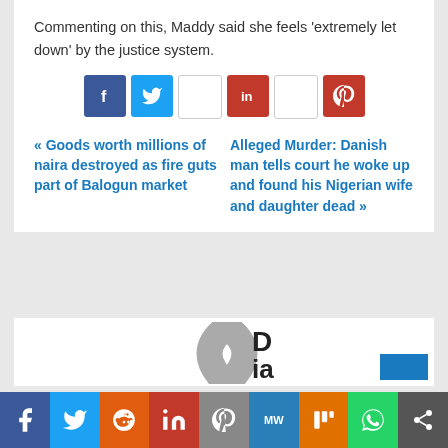Commenting on this, Maddy said she feels ‘extremely let down’ by the justice system.
[Figure (other): Social share buttons: Facebook, Twitter, WhatsApp, LinkedIn, Pinterest, Pinterest red]
« Goods worth millions of naira destroyed as fire guts part of Balogun market
Alleged Murder: Danish man tells court he woke up and found his Nigerian wife and daughter dead »
[Figure (logo): Partial logo with letter D and 'ia' visible with grey arc shape and blue rectangle]
[Figure (other): Bottom social sharing bar with icons for Facebook, Twitter, Reddit, LinkedIn, Pinterest, MeWe, Mix, WhatsApp, Share]